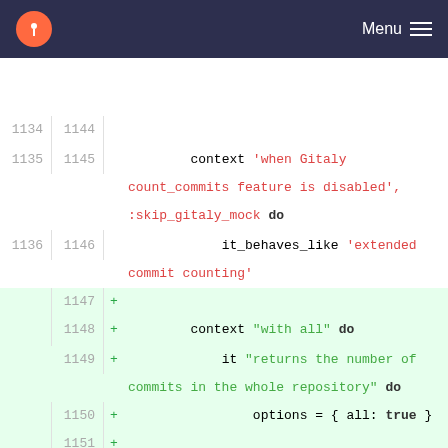Menu
[Figure (screenshot): Code diff view showing Ruby RSpec test code. Lines 1135-1136 show context with old/new line numbers, lines 1147-1157 show added lines (green background) with new line numbers only and + signs.]